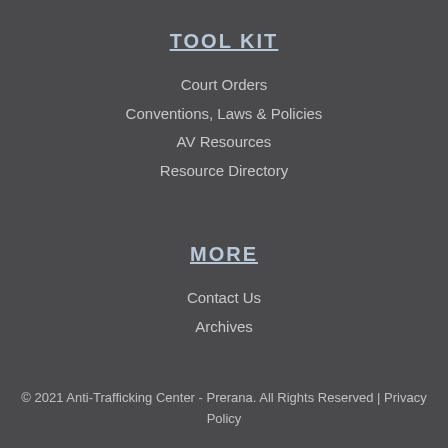TOOL KIT
Court Orders
Conventions, Laws & Policies
AV Resources
Resource Directory
MORE
Contact Us
Archives
© 2021 Anti-Trafficking Center - Prerana. All Rights Reserved | Privacy Policy